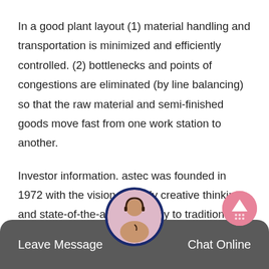In a good plant layout (1) material handling and transportation is minimized and efficiently controlled. (2) bottlenecks and points of congestions are eliminated (by line balancing) so that the raw material and semi-finished goods move fast from one work station to another.
Investor information. astec was founded in 1972 with the vision to apply creative thinking and state-of-the-art technology to traditionally low-tech industries, bolstered by a corporate culture renowned for putting customer service first. based in chattanooga, our market-leading brands have become a global leader in the manufacture of equipment.
[Figure (other): Chat widget bottom bar with Leave Message button on left, Chat Online button on right, and a circular avatar image of a customer service representative in the center top. A pink circular up-arrow button appears to the right mid-page.]
Impact Crusher Working Principle